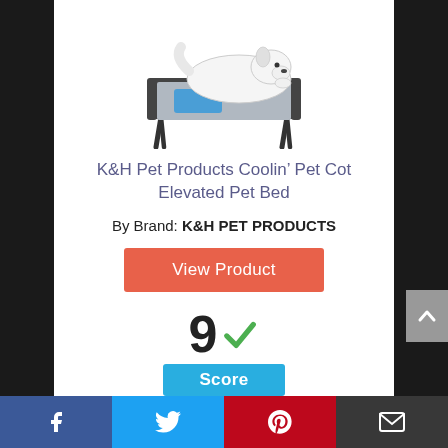[Figure (photo): A white dog lying on a K&H Pet Products Coolin' Pet Cot Elevated Pet Bed — a raised mesh cot with metal legs and a blue cooling pad insert.]
K&H Pet Products Coolin' Pet Cot Elevated Pet Bed
By Brand: K&H PET PRODUCTS
View Product
9 ✓
Score